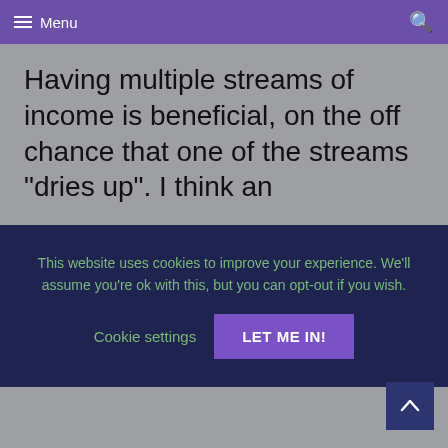Menu
Having multiple streams of income is beneficial, on the off chance that one of the streams “dries up”. I think an
This website uses cookies to improve your experience. We’ll assume you’re ok with this, but you can opt-out if you wish. Cookie settings | LET ME IN!
–Irma 🙂
Reply
[Figure (other): Scroll to top button with upward arrow]